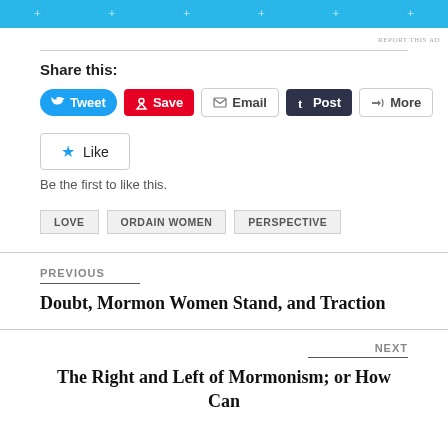[Figure (screenshot): Light blue ad banner with white plus signs]
REPORT THIS AD
Share this:
[Figure (screenshot): Social sharing buttons: Tweet, Save, Email, Post, More]
[Figure (screenshot): Like button with star icon]
Be the first to like this.
LOVE
ORDAIN WOMEN
PERSPECTIVE
PREVIOUS
Doubt, Mormon Women Stand, and Traction
NEXT
The Right and Left of Mormonism; or How Can